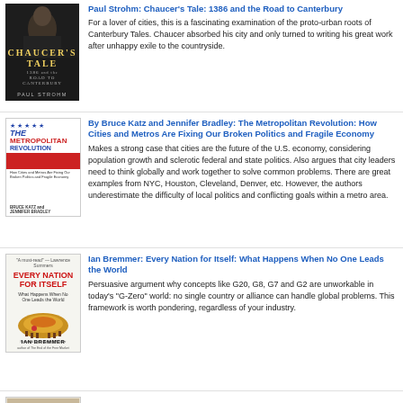[Figure (illustration): Book cover: Chaucer's Tale 1386 and the Road to Canterbury by Paul Strohm, dark cover with portrait of a medieval figure]
Paul Strohm: Chaucer's Tale: 1386 and the Road to Canterbury
For a lover of cities, this is a fascinating examination of the proto-urban roots of Canterbury Tales. Chaucer absorbed his city and only turned to writing his great work after unhappy exile to the countryside.
[Figure (illustration): Book cover: The Metropolitan Revolution by Bruce Katz and Jennifer Bradley, white cover with red and blue design]
By Bruce Katz and Jennifer Bradley: The Metropolitan Revolution: How Cities and Metros Are Fixing Our Broken Politics and Fragile Economy
Makes a strong case that cities are the future of the U.S. economy, considering population growth and sclerotic federal and state politics. Also argues that city leaders need to think globally and work together to solve common problems. There are great examples from NYC, Houston, Cleveland, Denver, etc. However, the authors underestimate the difficulty of local politics and conflicting goals within a metro area.
[Figure (illustration): Book cover: Every Nation for Itself: What Happens When No One Leads the World by Ian Bremmer]
Ian Bremmer: Every Nation for Itself: What Happens When No One Leads the World
Persuasive argument why concepts like G20, G8, G7 and G2 are unworkable in today's "G-Zero" world: no single country or alliance can handle global problems. This framework is worth pondering, regardless of your industry.